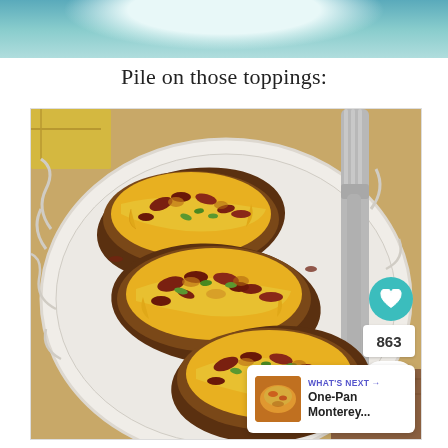[Figure (photo): Partial photo at top of page showing a teal/blue decorative plate background]
Pile on those toppings:
[Figure (photo): Close-up photo of twice-baked loaded potato skins topped with melted cheddar cheese, crispy bacon bits, and chopped green onions, served on a white decorative plate with a fork visible on the right side. Social interaction buttons (heart, share) and count 863 visible on right. A 'WHAT'S NEXT' panel shows One-Pan Monterey... in bottom right.]